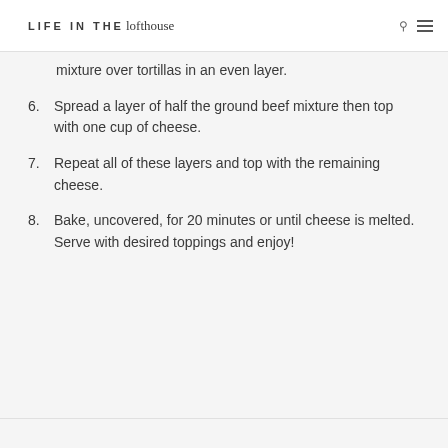LIFE IN THE lofthouse
mixture over tortillas in an even layer.
6. Spread a layer of half the ground beef mixture then top with one cup of cheese.
7. Repeat all of these layers and top with the remaining cheese.
8. Bake, uncovered, for 20 minutes or until cheese is melted. Serve with desired toppings and enjoy!